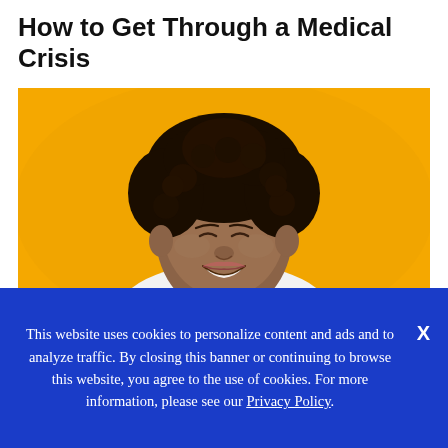How to Get Through a Medical Crisis
[Figure (photo): A smiling young Black woman with curly hair, eyes closed, wearing a white top, posed against a bright yellow/amber background.]
This website uses cookies to personalize content and ads and to analyze traffic. By closing this banner or continuing to browse this website, you agree to the use of cookies. For more information, please see our Privacy Policy.